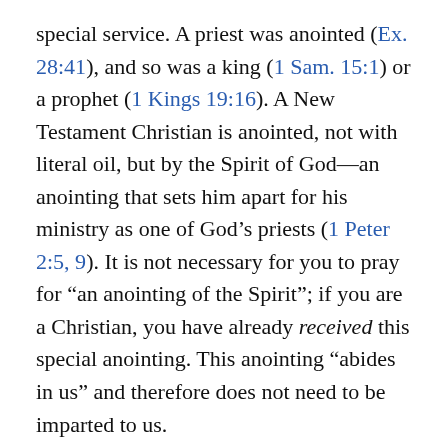special service. A priest was anointed (Ex. 28:41), and so was a king (1 Sam. 15:1) or a prophet (1 Kings 19:16). A New Testament Christian is anointed, not with literal oil, but by the Spirit of God—an anointing that sets him apart for his ministry as one of God's priests (1 Peter 2:5, 9). It is not necessary for you to pray for “an anointing of the Spirit”; if you are a Christian, you have already received this special anointing. This anointing “abides in us” and therefore does not need to be imparted to us.
We have seen that false teachers deny the